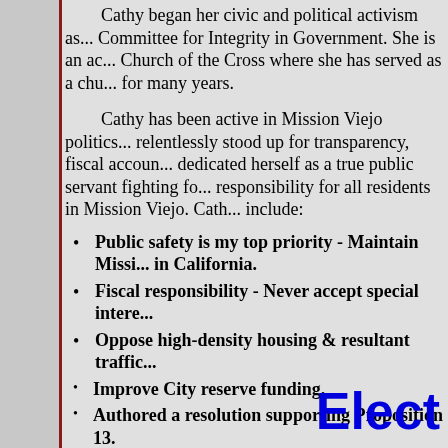Cathy began her civic and political activism as... Committee for Integrity in Government. She is an ac... Church of the Cross where she has served as a chu... for many years.
Cathy has been active in Mission Viejo politics... relentlessly stood up for transparency, fiscal accoun... dedicated herself as a true public servant fighting fo... responsibility for all residents in Mission Viejo. Cath... include:
Public safety is my top priority - Maintain Missi... in California.
Fiscal responsibility - Never accept special intere...
Oppose high-density housing & resultant traffic...
Improve City reserve funding.
Authored a resolution supporting Proposition 13.
Support The Orange County Veterans Memorial...
Elect